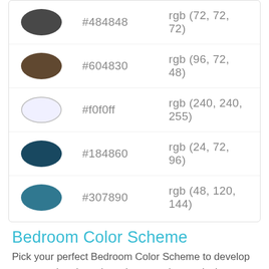| (color swatch) | Hex | RGB |
| --- | --- | --- |
| dark gray oval | #484848 | rgb (72, 72, 72) |
| brown oval | #604830 | rgb (96, 72, 48) |
| light white oval | #f0f0ff | rgb (240, 240, 255) |
| dark teal oval | #184860 | rgb (24, 72, 96) |
| teal oval | #307890 | rgb (48, 120, 144) |
Bedroom Color Scheme
Pick your perfect Bedroom Color Scheme to develop your own interior color scheme and even design entire rooms
25 Best Hotel Bedroom Design Ideas On Pinterest Hotel Bedroom Contemporary Bedroom Design Pic Lighten Color Scheme
| Color | Lighten Color |
| --- | --- |